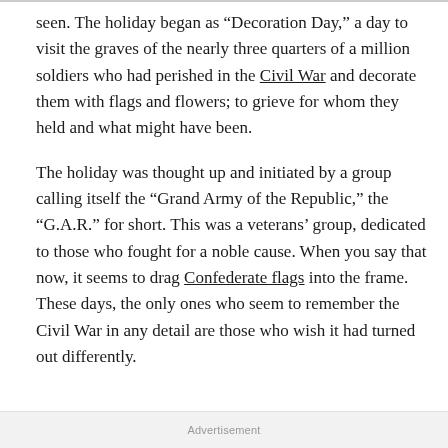seen. The holiday began as “Decoration Day,” a day to visit the graves of the nearly three quarters of a million soldiers who had perished in the Civil War and decorate them with flags and flowers; to grieve for whom they held and what might have been.
The holiday was thought up and initiated by a group calling itself the “Grand Army of the Republic,” the “G.A.R.” for short. This was a veterans’ group, dedicated to those who fought for a noble cause. When you say that now, it seems to drag Confederate flags into the frame. These days, the only ones who seem to remember the Civil War in any detail are those who wish it had turned out differently.
Advertisement